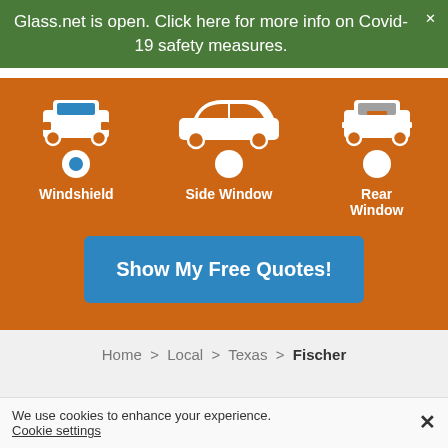Glass.net is open. Click here for more info on Covid-19 safety measures.
[Figure (screenshot): Auto glass service selection widget with orange background showing three car options: Windshield (selected with blue radio button), Side Window, and Rear Window car icons in white, with a blue 'Show My Free Quotes!' button below]
Home > Local > Texas > Fischer
We use cookies to enhance your experience. Cookie settings